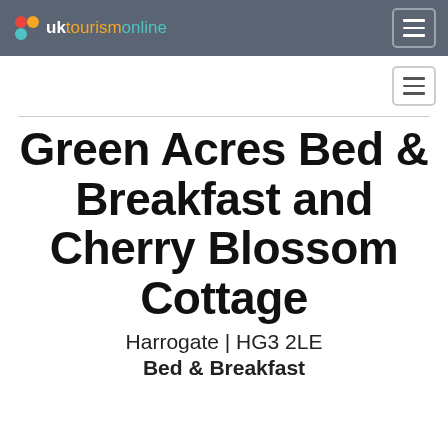uktourismonline
Green Acres Bed & Breakfast and Cherry Blossom Cottage
Harrogate | HG3 2LE
Bed & Breakfast